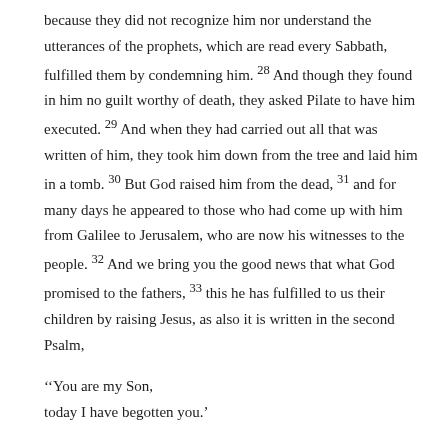because they did not recognize him nor understand the utterances of the prophets, which are read every Sabbath, fulfilled them by condemning him. 28 And though they found in him no guilt worthy of death, they asked Pilate to have him executed. 29 And when they had carried out all that was written of him, they took him down from the tree and laid him in a tomb. 30 But God raised him from the dead, 31 and for many days he appeared to those who had come up with him from Galilee to Jerusalem, who are now his witnesses to the people. 32 And we bring you the good news that what God promised to the fathers, 33 this he has fulfilled to us their children by raising Jesus, as also it is written in the second Psalm,
‘‘You are my Son,
today I have begotten you.’
34 And as for the fact that he raised him from the dead, no more to return to corruption, he has spoken in this way,
‘‘I will give you the holy and sure blessings of David.’